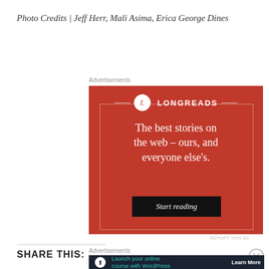Photo Credits | Jeff Herr, Mali Asima, Erica George Dines
[Figure (advertisement): Longreads advertisement on red background with white text: 'The best stories on the web – ours, and everyone else's.' with a 'Start reading' button]
SHARE THIS:
[Figure (advertisement): Dark banner advertisement: 'Launch your online course with WordPress' with a 'Learn More' button]